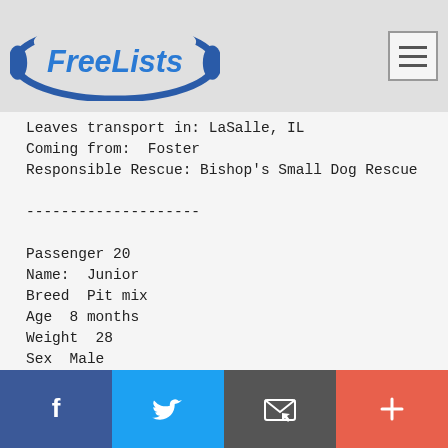FreeLists logo and navigation
Leaves transport in: LaSalle, IL
Coming from:  Foster
Responsible Rescue: Bishop's Small Dog Rescue

--------------------

Passenger 20
Name:  Junior
Breed  Pit mix
Age  8 months
Weight  28
Sex  Male
Altered:  No, will be completed by rescue
UTD:  Yes
Note/Concerns:  0
Social share buttons: Facebook, Twitter, Email, Plus